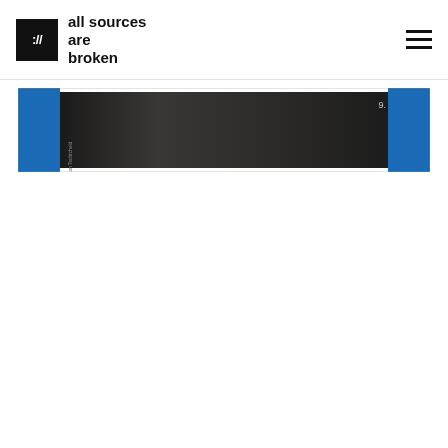:/// all sources are broken
[Figure (photo): A photograph of a book or publication spine with a dark/black cover and blue side panels, with the number '9.' visible in the upper right corner. The spine appears to have small vertical text.]